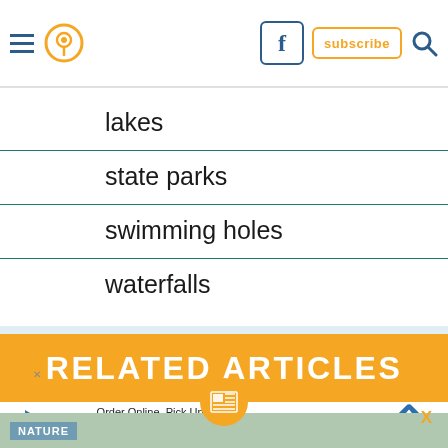Navigation bar with hamburger menu, pin icon, Facebook icon, subscribe button, and search icon
lakes
state parks
swimming holes
waterfalls
RELATED ARTICLES
Order Online, Pick Up in Store
World Market
NATURE